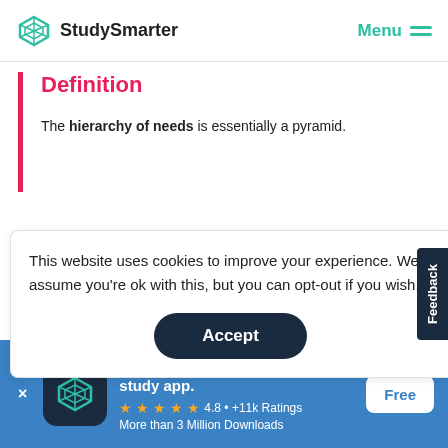StudySmarter | Menu
Definition
The hierarchy of needs is essentially a pyramid.
This website uses cookies to improve your experience. We'll assume you're ok with this, but you can opt-out if you wish.
Accept
StudySmarter - The all-in-one study app. 4.8 • +11k Ratings More than 3 Million Downloads Free